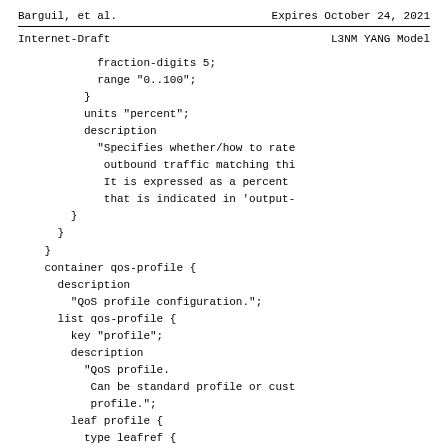Barguil, et al.          Expires October 24, 2021
Internet-Draft                    L3NM YANG Model
fraction-digits 5;
            range "0..100";
          }
          units "percent";
          description
            "Specifies whether/how to rate
             outbound traffic matching thi
             It is expressed as a percent
             that is indicated in 'output-
        }
      }
    }
    container qos-profile {
      description
        "QoS profile configuration.";
      list qos-profile {
        key "profile";
        description
          "QoS profile.
           Can be standard profile or cust
           profile.";
        leaf profile {
          type leafref {